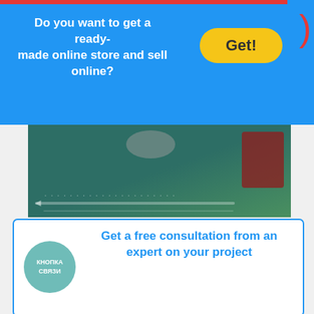Do you want to get a ready-made online store and sell online?
[Figure (screenshot): Screenshot of a webpage with dark teal background, showing a video/audio player bar at the bottom]
Главная / База знаний / Социальные сигналы / Влияние социальных сетей на позиции сайта — хлебные крошки (breadcrumb navigation diagram with arrows)
Рейтинг сайта. Влияние социальных сигналов
Некоторые оптимизаторы незаслуженно оговаривают влияние социальных сигналов на рейтинг продвигаемого веб-ресурса. Они упорно продолжают говорить о бесполезной трате времени на ведение активной деятельности в соц. сетях, поскольку ссылки не могут передавать вес сайта, а следовательно, и влиять на показатели ТИЦ и PageRank.
Get a free consultation from an expert on your project
КНОПКА СВЯЗИ